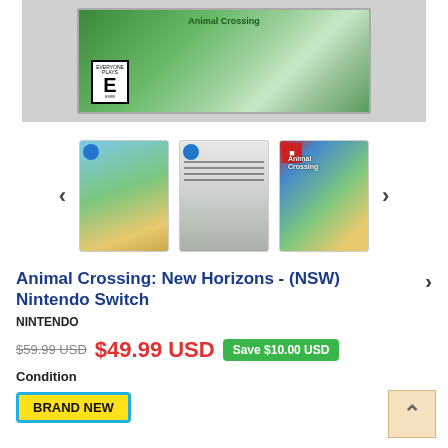[Figure (photo): Main product photo of Animal Crossing: New Horizons Nintendo Switch game box, showing colorful game art with an ESRB E rating label]
[Figure (photo): Three thumbnail images of Animal Crossing: New Horizons game: front of case with blue price tag sticker, back of case with blue price tag sticker, and third-party cover art. Navigation arrows on each side.]
Animal Crossing: New Horizons - (NSW) Nintendo Switch
NINTENDO
$59.99 USD  $49.99 USD  Save $10.00 USD
Condition
BRAND NEW